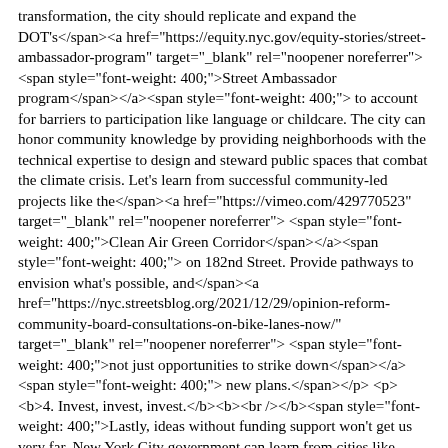transformation, the city should replicate and expand the DOT's Street Ambassador program to account for barriers to participation like language or childcare. The city can honor community knowledge by providing neighborhoods with the technical expertise to design and steward public spaces that combat the climate crisis. Let's learn from successful community-led projects like the Clean Air Green Corridor on 182nd Street. Provide pathways to envision what's possible, and not just opportunities to strike down new plans.

4. Invest, invest, invest.
Lastly, ideas without funding support won't get us very far. New York City government can learn from cities like Montreal that are climate testing their